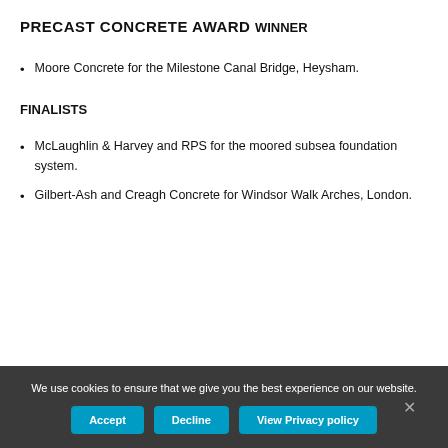PRECAST CONCRETE AWARD
WINNER
Moore Concrete for the Milestone Canal Bridge, Heysham.
FINALISTS
McLaughlin & Harvey and RPS for the moored subsea foundation system.
Gilbert-Ash and Creagh Concrete for Windsor Walk Arches, London.
We use cookies to ensure that we give you the best experience on our website.